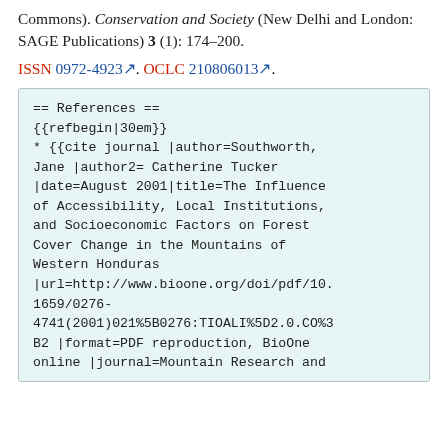Commons). Conservation and Society (New Delhi and London: SAGE Publications) 3 (1): 174–200.
ISSN 0972-4923. OCLC 210806013.
== References ==
{{refbegin|30em}}
* {{cite journal |author=Southworth, Jane |author2= Catherine Tucker |date=August 2001|title=The Influence of Accessibility, Local Institutions, and Socioeconomic Factors on Forest Cover Change in the Mountains of Western Honduras
|url=http://www.bioone.org/doi/pdf/10.1659/0276-4741(2001)021%5B0276:TIOALI%5D2.0.CO%3B2 |format=PDF reproduction, BioOne online |journal=Mountain Research and